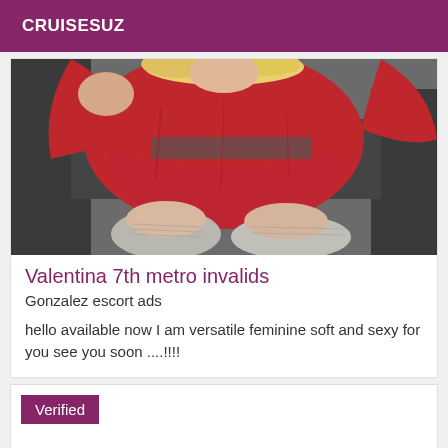CRUISESUZ
[Figure (photo): Woman in red dress sitting on dark sofa, wearing grey stockings, blonde hair, cropped torso shot]
Valentina 7th metro invalids
Gonzalez escort ads
hello available now I am versatile feminine soft and sexy for you see you soon ....!!!!
Verified